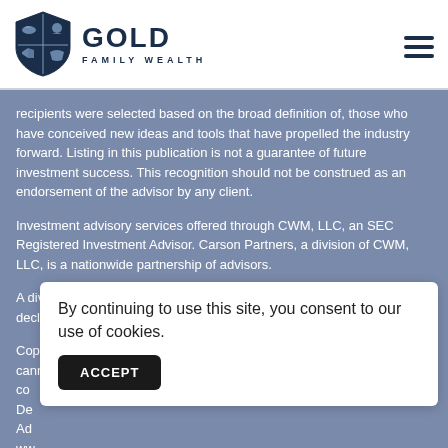[Figure (logo): Gold Family Wealth shield logo with animals and text]
recipients were selected based on the broad definition of, those who have conceived new ideas and tools that have propelled the industry forward. Listing in this publication is not a guarantee of future investment success. This recognition should not be construed as an endorsement of the advisor by any client.
Investment advisory services offered through CWM, LLC, an SEC Registered Investment Advisor. Carson Partners, a division of CWM, LLC, is a nationwide partnership of advisors.
A diversified portfolio does not assure a profit or protect against loss in a declining market.
Copyright 2022 Gold Family Wealth. All rights reserved. This content cannot be co... De... Ad... ww...
By continuing to use this site, you consent to our use of cookies.
ACCEPT